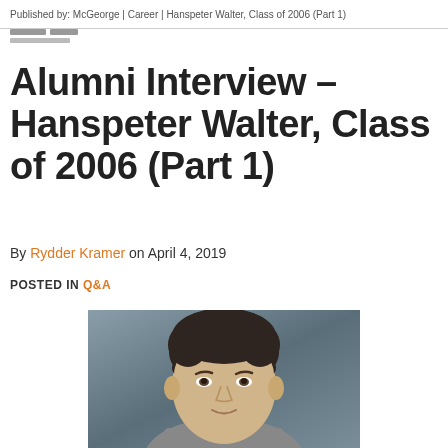Published by: McGeorge | Career | Hanspeter Walter, Class of 2006 (Part 1)
Alumni Interview – Hanspeter Walter, Class of 2006 (Part 1)
By Rydder Kramer on April 4, 2019
POSTED IN Q&A
[Figure (photo): Professional headshot of Hanspeter Walter, a man in a grey suit with a white collared shirt, dark hair, against a blurred background]